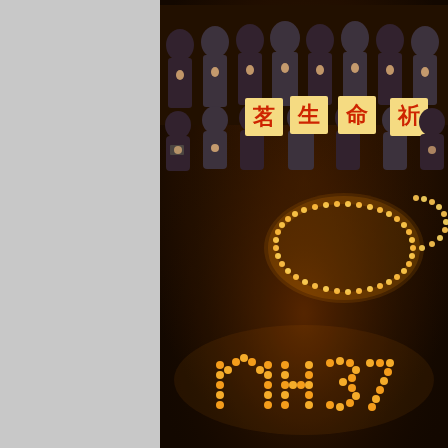[Figure (photo): A candlelight vigil scene, likely for MH370. Students in school uniforms hold candles and signs with Chinese characters. On the dark floor, candles are arranged to form the text 'MH' and what appears to be Chinese characters, surrounded by a large oval ring of candles.]